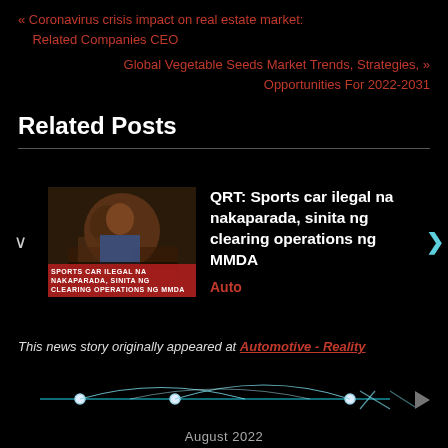« Coronavirus crisis impact on real estate market: Related Companies CEO
Global Vegetable Seeds Market Trends, Strategies, Opportunities For 2022-2031 »
Related Posts
[Figure (photo): Thumbnail photo of a man in uniform working at a desk, with a red overlay text banner at the bottom reading 'SPORTS CAR ILEGAL NA NAKAPARADA, SINITA NG CLEARING OPERATIONS NG MMDA']
QRT: Sports car ilegal na nakaparada, sinita ng clearing operations ng MMDA
Auto
This news story originally appeared at Automotive - Reality Syndicate Viewers on 19 May 2022
August 2022